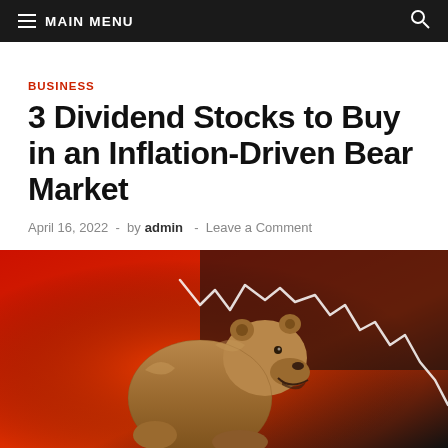MAIN MENU
BUSINESS
3 Dividend Stocks to Buy in an Inflation-Driven Bear Market
April 16, 2022  -  by admin  -  Leave a Comment
[Figure (photo): A brown bear figurine posed with mouth open in front of a red and black background showing a declining stock market chart line in white]